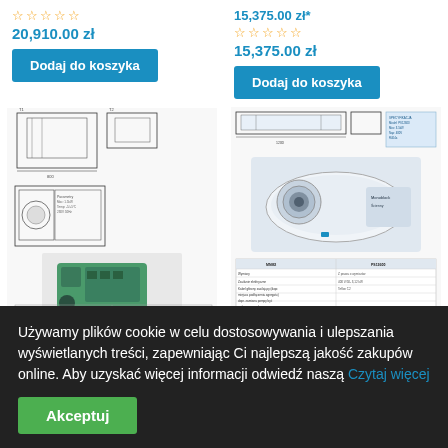20,910.00 zł
15,375.00 zł
Dodaj do koszyka
Dodaj do koszyka
[Figure (engineering-diagram): Technical engineering diagram of a refrigeration unit showing multiple views: top/side/front elevation drawings with dimensions, and a 3D photo of a green/teal monoblock refrigeration unit]
[Figure (engineering-diagram): Technical diagram of a wall-mounted refrigeration unit with dimensional drawings at top and a photo of white unit below, plus a specification table]
Używamy plików cookie w celu dostosowywania i ulepszania wyświetlanych treści, zapewniając Ci najlepszą jakość zakupów online. Aby uzyskać więcej informacji odwiedź naszą Czytaj więcej
Akceptuj